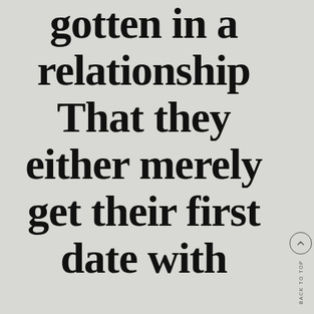gotten in a relationship That they either merely get their first date with